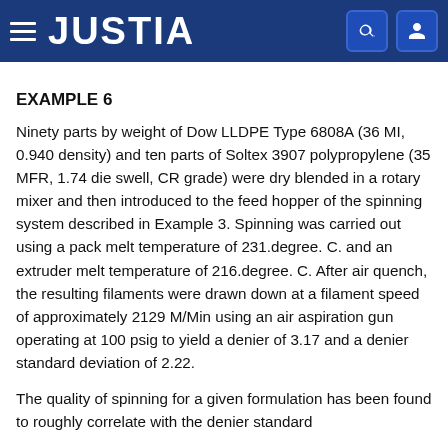JUSTIA
EXAMPLE 6
Ninety parts by weight of Dow LLDPE Type 6808A (36 MI, 0.940 density) and ten parts of Soltex 3907 polypropylene (35 MFR, 1.74 die swell, CR grade) were dry blended in a rotary mixer and then introduced to the feed hopper of the spinning system described in Example 3. Spinning was carried out using a pack melt temperature of 231.degree. C. and an extruder melt temperature of 216.degree. C. After air quench, the resulting filaments were drawn down at a filament speed of approximately 2129 M/Min using an air aspiration gun operating at 100 psig to yield a denier of 3.17 and a denier standard deviation of 2.22.
The quality of spinning for a given formulation has been found to roughly correlate with the denier standard